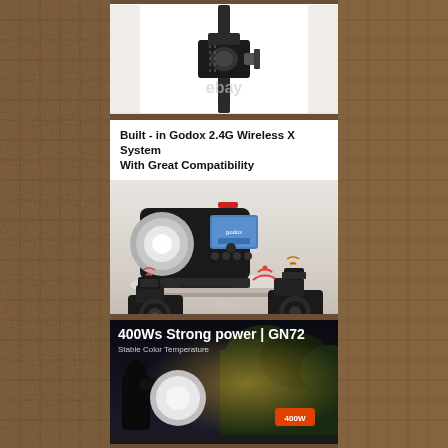[Figure (photo): Close-up photo of a camera stand clamp/mount bracket on a black pole, white background with ebay watermark]
[Figure (photo): Product feature panel showing Godox AD400Pro strobe flash unit on a surface, with wireless signal icons connecting to cameras on left and right. Header text reads: Built - in Godox 2.4G Wireless X System With Great Compatibility. Ebay watermark visible.]
[Figure (photo): Dark outdoor photographer scene with large reflector dish, trees in background, golden light beam, and a red dial label showing 400W. Text overlay: 400Ws Strong power | GN72 / Stable Color Temperature]